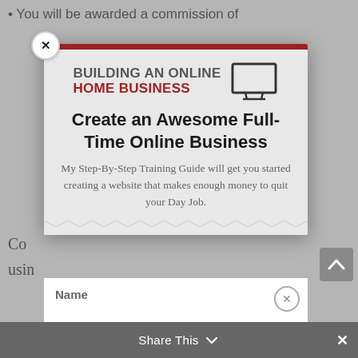You will be awarded a commission of
[Figure (screenshot): Modal popup overlay showing 'Building an Online Home Business' with monitor icon, title 'Create an Awesome Full-Time Online Business', and subtitle text about Step-By-Step Training Guide]
Create an Awesome Full-Time Online Business
My Step-By-Step Training Guide will get you started creating a website that makes enough money to quit your Day Job.
Co
usin
Name
Share This